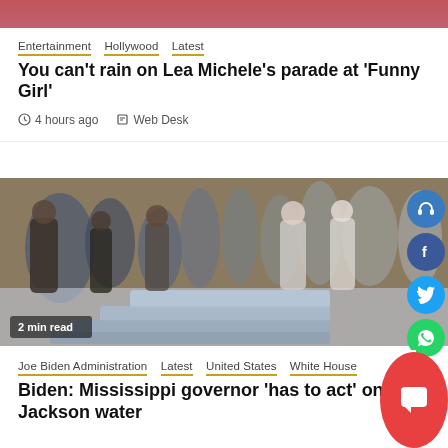[Figure (photo): Partial photo at top, pink/red toned, cropped]
Entertainment  Hollywood  Latest
You can’t rain on Lea Michele’s parade at ‘Funny Girl’
4 hours ago   Web Desk
[Figure (photo): People distributing water bottles outdoors, crowd scene, 2 min read badge]
Joe Biden Administration  Latest  United States  White House
Biden: Mississippi governor ‘has to act’ on Jackson water